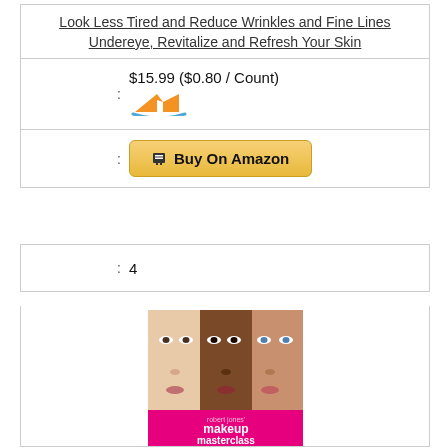Look Less Tired and Reduce Wrinkles and Fine Lines Undereye, Revitalize and Refresh Your Skin
|  | : | $15.99 ($0.80 / Count) |
|  | : | Buy On Amazon |
|  | : | 4 |
[Figure (photo): Book cover: Robert Jones' Makeup Masterclass, showing three women with different skin tones side by side]